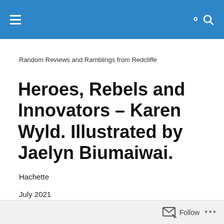Navigation bar with menu and search icons
Random Reviews and Ramblings from Redcliffe
Heroes, Rebels and Innovators – Karen Wyld. Illustrated by Jaelyn Biumaiwai.
Hachette
July 2021
Follow ...